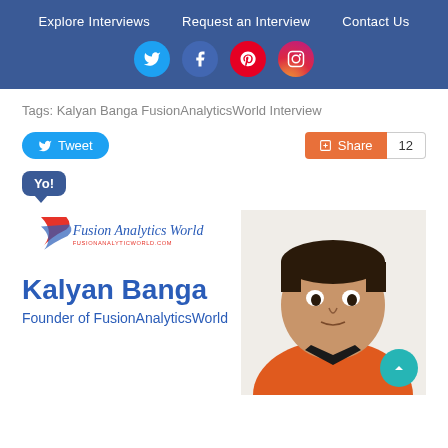Explore Interviews | Request an Interview | Contact Us
[Figure (screenshot): Social media icons: Twitter, Facebook, Pinterest, Instagram on blue navigation bar]
Tags: Kalyan Banga FusionAnalyticsWorld Interview
[Figure (infographic): Tweet button, Share button with count 12, and Yo! bubble button]
[Figure (photo): Fusion Analytics World logo with Kalyan Banga name, Founder of FusionAnalyticsWorld title, and a photo of a man in orange shirt]
Kalyan Banga
Founder of FusionAnalyticsWorld